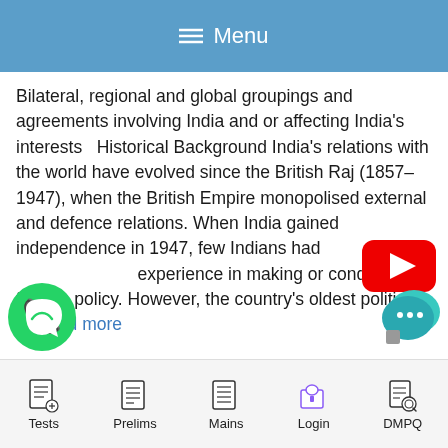≡ Menu
Bilateral, regional and global groupings and agreements involving India and or affecting India's interests   Historical Background India's relations with the world have evolved since the British Raj (1857–1947), when the British Empire monopolised external and defence relations. When India gained independence in 1947, few Indians had experience in making or conducting foreign policy. However, the country's oldest political ... Read more
[Figure (logo): YouTube play button logo — red rounded rectangle with white triangle]
[Figure (logo): WhatsApp logo — green circle with white phone handset]
[Figure (logo): Chat/messaging bubble icon — teal/blue speech bubble with ellipsis]
Tests   Prelims   Mains   Login   DMPQ